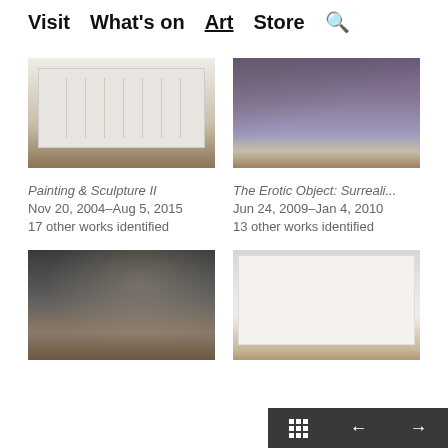Visit  What's on  Art  Store  🔍
[Figure (photo): Museum gallery interior showing paintings hung on white walls with wooden floor]
Painting & Sculpture II
Nov 20, 2004–Aug 5, 2015
17 other works identified
[Figure (photo): Museum gallery interior with sculptures on pedestals against purple/grey walls]
The Erotic Object: Surreali...
Jun 24, 2009–Jan 4, 2010
13 other works identified
[Figure (photo): Museum gallery with dark walls and sculptures on white pedestals with wooden floor]
[Figure (photo): Museum gallery with white walls showing prints and paintings with sculptures]